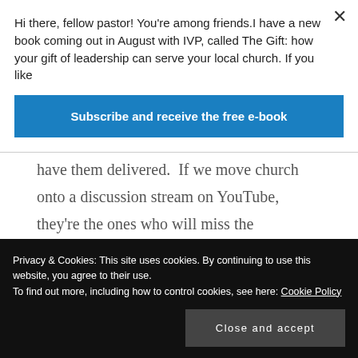Hi there, fellow pastor! You’re among friends.I have a new book coming out in August with IVP, called The Gift: how your gift of leadership can serve your local church. If you like
Subscribe and receive the free e-book
have them delivered.  If we move church onto a discussion stream on YouTube, they’re the ones who will miss the fellowship. While the cool kids play.
They’re the ones who will miss the
Privacy & Cookies: This site uses cookies. By continuing to use this website, you agree to their use.
To find out more, including how to control cookies, see here: Cookie Policy
Close and accept
to do?'